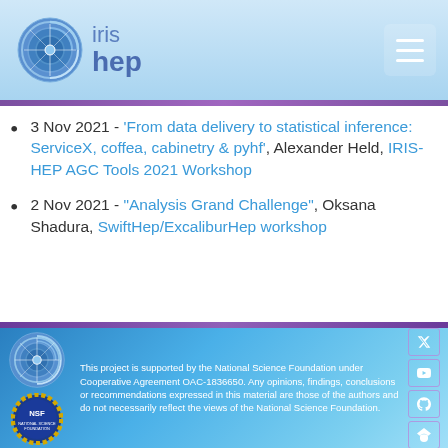IRIS-HEP
3 Nov 2021 - 'From data delivery to statistical inference: ServiceX, coffea, cabinetry & pyhf', Alexander Held, IRIS-HEP AGC Tools 2021 Workshop
2 Nov 2021 - "Analysis Grand Challenge", Oksana Shadura, SwiftHep/ExcaliburHep workshop
This project is supported by the National Science Foundation under Cooperative Agreement OAC-1836650. Any opinions, findings, conclusions or recommendations expressed in this material are those of the authors and do not necessarily reflect the views of the National Science Foundation.